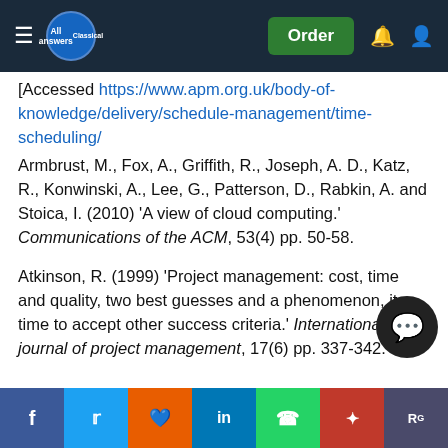All Answers Classical — navbar with Order button
[Accessed https://www.apm.org.uk/body-of-knowledge/delivery/schedule-management/time-scheduling/
Armbrust, M., Fox, A., Griffith, R., Joseph, A. D., Katz, R., Konwinski, A., Lee, G., Patterson, D., Rabkin, A. and Stoica, I. (2010) 'A view of cloud computing.' Communications of the ACM, 53(4) pp. 50-58.
Atkinson, R. (1999) 'Project management: cost, time and quality, two best guesses and a phenomenon, its time to accept other success criteria.' International journal of project management, 17(6) pp. 337-342.
Bloch, M., Blumberg, S. and Laartz, J. (2012) 'Delivering large-scale IT projects on time, on budget, and on value.' Harvard B...
Social share bar: Facebook, Twitter, Reddit, LinkedIn, WhatsApp, Mendeley, ResearchGate